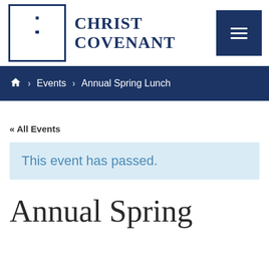[Figure (logo): Christ Covenant church logo: a Celtic cross inside a square border, with the text CHRIST COVENANT to the right in dark navy blue.]
Home > Events > Annual Spring Lunch
« All Events
This event has passed.
Annual Spring